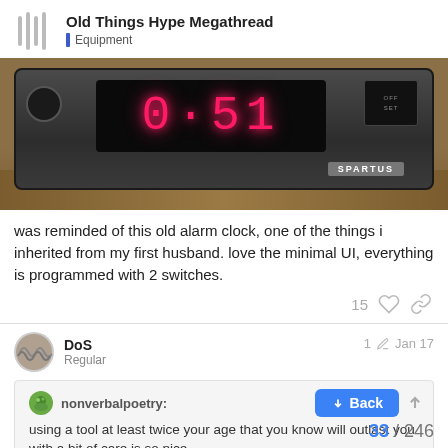Old Things Hype Megathread | Equipment
[Figure (photo): Close-up photo of a vintage SPARTUS brand digital alarm clock with pink/red LED display showing digits, sitting on a wooden surface.]
was reminded of this old alarm clock, one of the things i inherited from my first husband. love the minimal UI, everything is programmed with 2 switches.
15
DoS
Regular
1  Jan 17
nonverbalpoetry:
using a tool at least twice your age that you know will outlast you with a bit of care is so nice.
Back
33 / 246